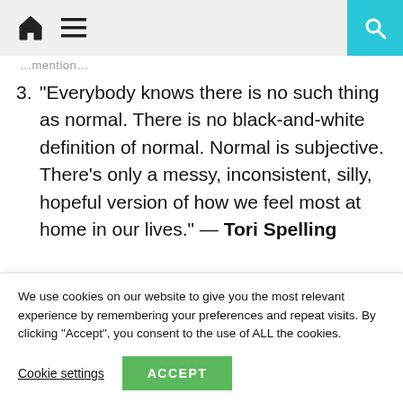Home | Menu | Search
…mention…
3. “Everybody knows there is no such thing as normal. There is no black-and-white definition of normal. Normal is subjective. There’s only a messy, inconsistent, silly, hopeful version of how we feel most at home in our lives.” — Tori Spelling
4. “You don’t have to be positive all the time. It’s perfectly okay to feel sad, angry, annoyed.
We use cookies on our website to give you the most relevant experience by remembering your preferences and repeat visits. By clicking “Accept”, you consent to the use of ALL the cookies.
Cookie settings | ACCEPT